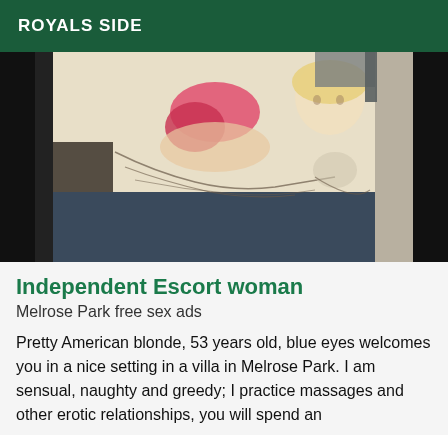ROYALS SIDE
[Figure (photo): A photograph displayed on a screen showing an illustration/artwork of a blonde woman in pink lingerie reclining, with sketched figures below, dark borders on sides]
Independent Escort woman
Melrose Park free sex ads
Pretty American blonde, 53 years old, blue eyes welcomes you in a nice setting in a villa in Melrose Park. I am sensual, naughty and greedy; I practice massages and other erotic relationships, you will spend an